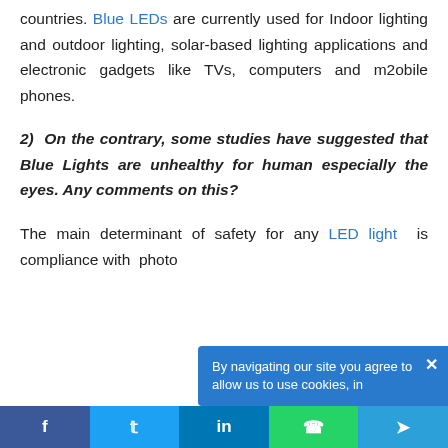countries. Blue LEDs are currently used for Indoor lighting and outdoor lighting, solar-based lighting applications and electronic gadgets like TVs, computers and m2obile phones.
2) On the contrary, some studies have suggested that Blue Lights are unhealthy for human especially the eyes. Any comments on this?
The main determinant of safety for any LED light is compliance with photo